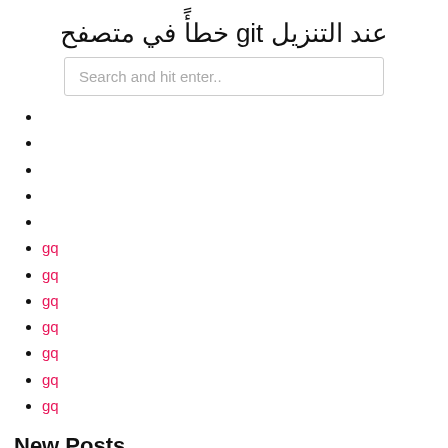عند التنزيل git خطأً في متصفح
Search and hit enter..
gq
gq
gq
gq
gq
gq
gq
New Posts
كيفية تنزيل ملف json باستخدام apex